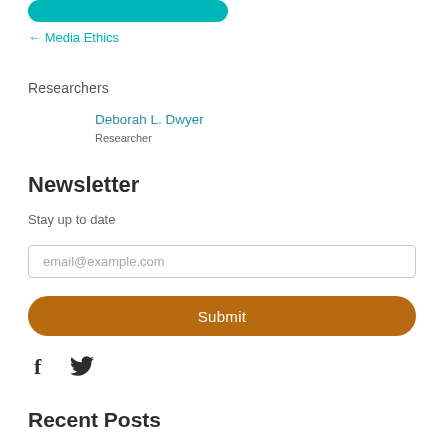[Figure (other): Teal rounded button partially visible at top]
← Media Ethics
Researchers
Deborah L. Dwyer
Researcher
Newsletter
Stay up to date
email@example.com
Submit
[Figure (other): Facebook and Twitter social media icons]
Recent Posts